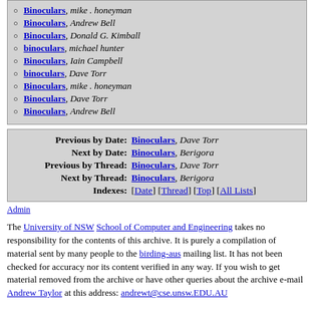Binoculars, mike . honeyman
Binoculars, Andrew Bell
Binoculars, Donald G. Kimball
binoculars, michael hunter
Binoculars, Iain Campbell
binoculars, Dave Torr
Binoculars, mike . honeyman
Binoculars, Dave Torr
Binoculars, Andrew Bell
| Previous by Date: | Binoculars, Dave Torr |
| Next by Date: | Binoculars, Berigora |
| Previous by Thread: | Binoculars, Dave Torr |
| Next by Thread: | Binoculars, Berigora |
| Indexes: | [Date] [Thread] [Top] [All Lists] |
Admin
The University of NSW School of Computer and Engineering takes no responsibility for the contents of this archive. It is purely a compilation of material sent by many people to the birding-aus mailing list. It has not been checked for accuracy nor its content verified in any way. If you wish to get material removed from the archive or have other queries about the archive e-mail Andrew Taylor at this address: andrewt@cse.unsw.EDU.AU